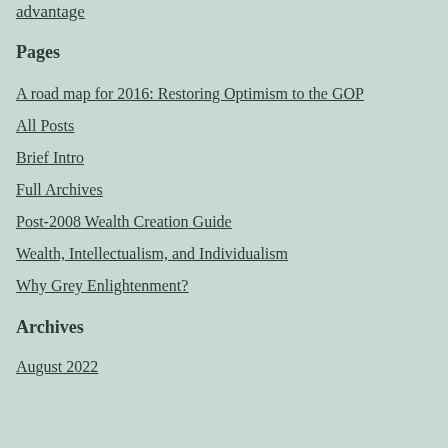advantage
Pages
A road map for 2016: Restoring Optimism to the GOP
All Posts
Brief Intro
Full Archives
Post-2008 Wealth Creation Guide
Wealth, Intellectualism, and Individualism
Why Grey Enlightenment?
Archives
August 2022